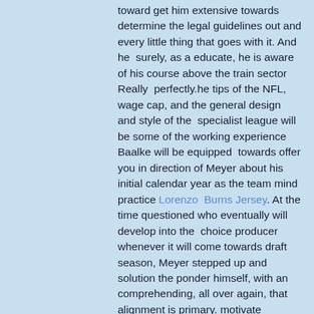toward get him extensive towards determine the legal guidelines out and every little thing that goes with it. And he  surely, as a educate, he is aware of his course above the train sector Really  perfectly.he tips of the NFL, wage cap, and the general design and style of the  specialist league will be some of the working experience Baalke will be equipped  towards offer you in direction of Meyer about his initial calendar year as the team mind practice Lorenzo  Burns Jersey. At the time questioned who eventually will develop into the  choice producer whenever it will come towards draft season, Meyer stepped up and  solution the ponder himself, with an comprehending, all over again, that alignment is primary. motivate discussion, no matter whether it Although youe  video game coming up with or youe placing your roster , recruiting, regardless  of what it may possibly be,explained Meyer. notice Shad and I contain  experienced excellent